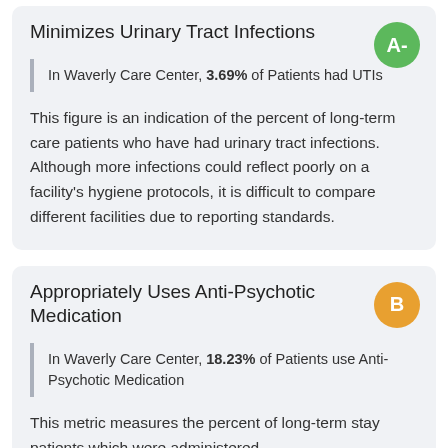Minimizes Urinary Tract Infections
In Waverly Care Center, 3.69% of Patients had UTIs
This figure is an indication of the percent of long-term care patients who have had urinary tract infections. Although more infections could reflect poorly on a facility’s hygiene protocols, it is difficult to compare different facilities due to reporting standards.
Appropriately Uses Anti-Psychotic Medication
In Waverly Care Center, 18.23% of Patients use Anti-Psychotic Medication
This metric measures the percent of long-term stay patients which were administered